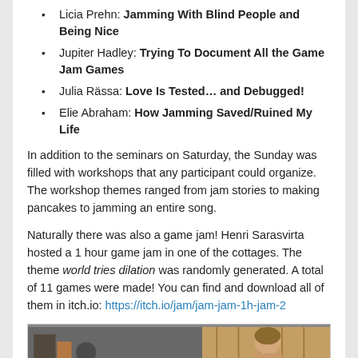Licia Prehn: Jamming With Blind People and Being Nice
Jupiter Hadley: Trying To Document All the Game Jam Games
Julia Rässa: Love Is Tested… and Debugged!
Elie Abraham: How Jamming Saved/Ruined My Life
In addition to the seminars on Saturday, the Sunday was filled with workshops that any participant could organize. The workshop themes ranged from jam stories to making pancakes to jamming an entire song.
Naturally there was also a game jam! Henri Sarasvirta hosted a 1 hour game jam in one of the cottages. The theme world tries dilation was randomly generated. A total of 11 games were made! You can find and download all of them in itch.io: https://itch.io/jam/jam-jam-1h-jam-2
[Figure (photo): Photo showing people at the event, two individuals visible]